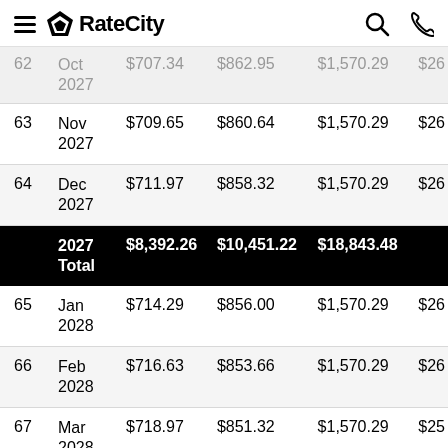RateCity
| # | Date | Principal | Interest | Total | Balance |
| --- | --- | --- | --- | --- | --- |
| 62 | Oct 2027 | $707.34 | $862.95 | $1,570.29 | $26... |
| 63 | Nov 2027 | $709.65 | $860.64 | $1,570.29 | $26... |
| 64 | Dec 2027 | $711.97 | $858.32 | $1,570.29 | $26... |
|  | 2027 Total | $8,392.26 | $10,451.22 | $18,843.48 |  |
| 65 | Jan 2028 | $714.29 | $856.00 | $1,570.29 | $26... |
| 66 | Feb 2028 | $716.63 | $853.66 | $1,570.29 | $26... |
| 67 | Mar 2028 | $718.97 | $851.32 | $1,570.29 | $25... |
| 68 | Apr 2028 | $721.32 | $848.97 | $1,570.29 | $25... |